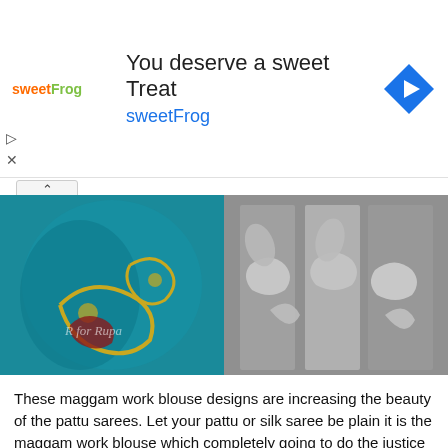[Figure (infographic): Advertisement banner for sweetFrog frozen yogurt. White background with sweetFrog logo, headline 'You deserve a sweet Treat', brand name 'sweetFrog' in blue, and a blue diamond navigation arrow icon on the right.]
[Figure (photo): Two side-by-side photos of sarees with maggam/zardozi embroidery work. Left image is in color showing a teal/turquoise silk saree with gold and red floral embroidery and 'R for Rupa' watermark. Right image is black and white showing similar sarees with heavy embroidery work displayed hanging.]
These maggam work blouse designs are increasing the beauty of the pattu sarees. Let your pattu or silk saree be plain it is the maggam work blouse which completely going to do the justice